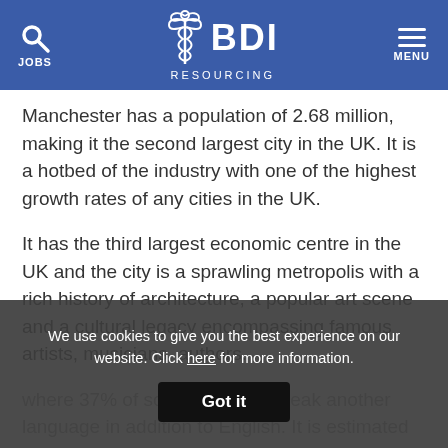JOBS | BDI RESOURCING | MENU
Manchester has a population of 2.68 million, making it the second largest city in the UK. It is a hotbed of the industry with one of the highest growth rates of any cities in the UK.
It has the third largest economic centre in the UK and the city is a sprawling metropolis with a rich history of architecture, a popular art scene and a cultural legacy encompassing famous artists, musicians, authors.
where 37% of schoolchildren speak another language in addition to English. It is estimated that more than half of the city's adult population is multilingual, with 17%
We use cookies to give you the best experience on our website. Click here for more information.